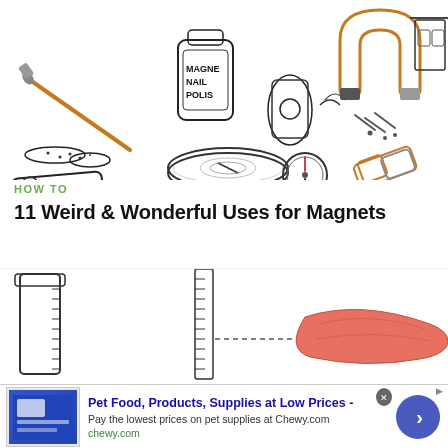[Figure (illustration): Hand-drawn illustrations showing various magnet uses: a lit match near iron filings, a bottle of Magnetic Nail Polish, a hand holding a magnet near a phone, an orange horseshoe magnet attracting nails, a whiteboard with magnets, a tortilla bag with a magnet, a bowl with a compass needle, a compass, and a cylindrical magnet.]
HOW TO
11 Weird & Wonderful Uses for Magnets
[Figure (illustration): Hand-drawn illustrations showing a graduated cylinder, a measuring tape or ruler strip, a dotted line, and a piece of salmon or fish fillet.]
Pet Food, Products, Supplies at Low Prices -
Pay the lowest prices on pet supplies at Chewy.com
chewy.com